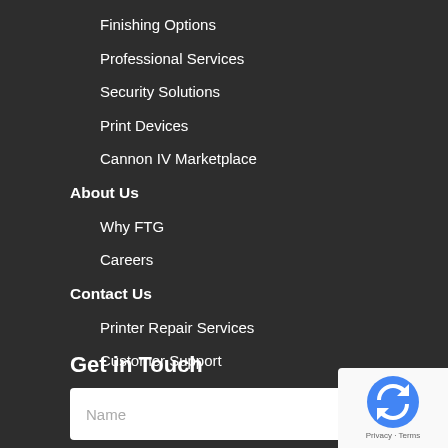Finishing Options
Professional Services
Security Solutions
Print Devices
Cannon IV Marketplace
About Us
Why FTG
Careers
Contact Us
Printer Repair Services
Customer Support
Marketplace Log-in
Privacy Policy
Return Policy
Get in Touch
Name